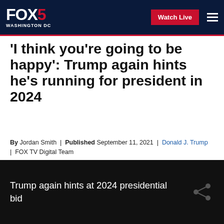FOX 5 WASHINGTON DC | Watch Live
'I think you're going to be happy': Trump again hints he's running for president in 2024
By Jordan Smith | Published September 11, 2021 | Donald J. Trump | FOX TV Digital Team
[Figure (screenshot): Social sharing icons: Facebook, Twitter, Print, Email]
[Figure (screenshot): Video thumbnail with black background showing text: Trump again hints at 2024 presidential bid, with share icon]